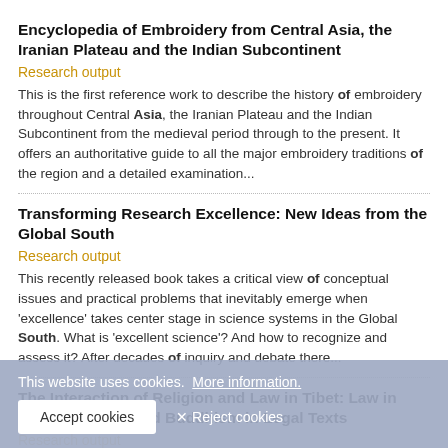Encyclopedia of Embroidery from Central Asia, the Iranian Plateau and the Indian Subcontinent
Research output
This is the first reference work to describe the history of embroidery throughout Central Asia, the Iranian Plateau and the Indian Subcontinent from the medieval period through to the present. It offers an authoritative guide to all the major embroidery traditions of the region and a detailed examination...
Transforming Research Excellence: New Ideas from the Global South
Research output
This recently released book takes a critical view of conceptual issues and practical problems that inevitably emerge when 'excellence' takes center stage in science systems in the Global South. What is 'excellent science'? And how to recognize and assess it? After decades of inquiry and debate there...
The Interaction of Religion and Law in Tibet: Law in Buddhist Texts and Buddhism in Legal Texts
Research output
...by monks. They were educated in a tradition in which Indic and Tibetan philosophical literature. They wrote was primarily religious or philosophical in nature, but also expended a...
This website uses cookies.  More information.
Accept cookies
✕ Reject cookies